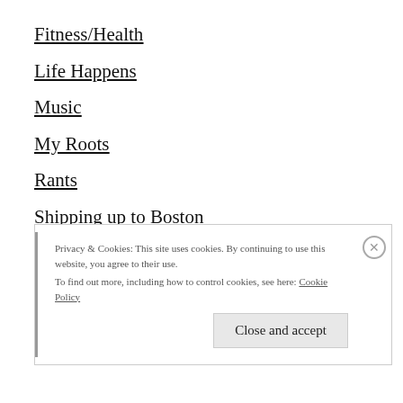Fitness/Health
Life Happens
Music
My Roots
Rants
Shipping up to Boston
Travel
Uncategorized
Wanderlust
Privacy & Cookies: This site uses cookies. By continuing to use this website, you agree to their use. To find out more, including how to control cookies, see here: Cookie Policy
Close and accept